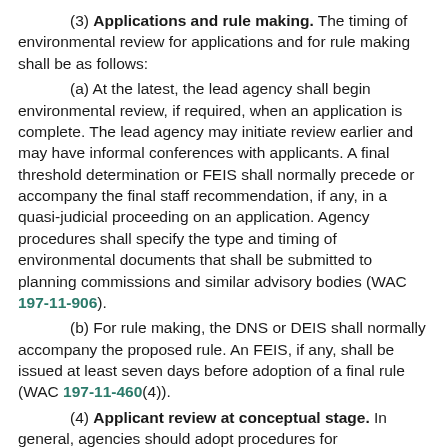(3) Applications and rule making. The timing of environmental review for applications and for rule making shall be as follows:
(a) At the latest, the lead agency shall begin environmental review, if required, when an application is complete. The lead agency may initiate review earlier and may have informal conferences with applicants. A final threshold determination or FEIS shall normally precede or accompany the final staff recommendation, if any, in a quasi-judicial proceeding on an application. Agency procedures shall specify the type and timing of environmental documents that shall be submitted to planning commissions and similar advisory bodies (WAC 197-11-906).
(b) For rule making, the DNS or DEIS shall normally accompany the proposed rule. An FEIS, if any, shall be issued at least seven days before adoption of a final rule (WAC 197-11-460(4)).
(4) Applicant review at conceptual stage. In general, agencies should adopt procedures for environmental review and for preparation of EISs on private proposals at the conceptual stage rather than